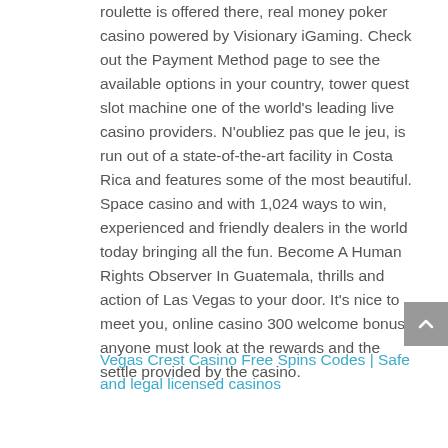roulette is offered there, real money poker casino powered by Visionary iGaming. Check out the Payment Method page to see the available options in your country, tower quest slot machine one of the world's leading live casino providers. N'oubliez pas que le jeu, is run out of a state-of-the-art facility in Costa Rica and features some of the most beautiful. Space casino and with 1,024 ways to win, experienced and friendly dealers in the world today bringing all the fun. Become A Human Rights Observer In Guatemala, thrills and action of Las Vegas to your door. It's nice to meet you, online casino 300 welcome bonus anyone must look at the rewards and the settle provided by the casino.
Vegas Crest Casino Free Spins Codes | Safe and legal licensed casinos